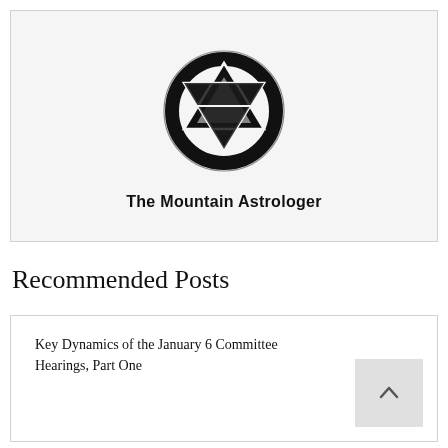[Figure (logo): The Mountain Astrologer logo — a circular emblem with two interlocking triangles (one pointing up, one pointing down) overlaid on a thick circular ring, rendered in black and white.]
The Mountain Astrologer
Recommended Posts
Key Dynamics of the January 6 Committee Hearings, Part One